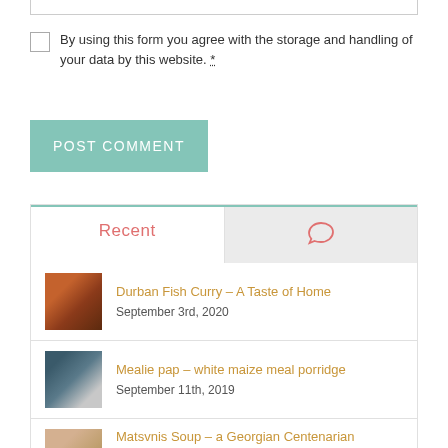By using this form you agree with the storage and handling of your data by this website. *
POST COMMENT
Recent
[Figure (illustration): Chat bubble icon in pink/salmon color]
[Figure (photo): Thumbnail of Durban Fish Curry dish]
Durban Fish Curry – A Taste of Home
September 3rd, 2020
[Figure (photo): Thumbnail of Mealie pap dish]
Mealie pap – white maize meal porridge
September 11th, 2019
[Figure (photo): Thumbnail of Matsvnis Soup dish]
Matsvnis Soup – a Georgian Centenarian